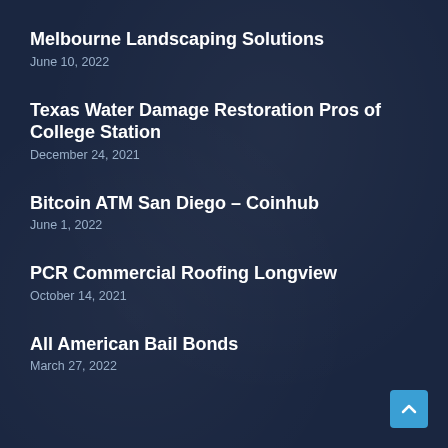Melbourne Landscaping Solutions
June 10, 2022
Texas Water Damage Restoration Pros of College Station
December 24, 2021
Bitcoin ATM San Diego – Coinhub
June 1, 2022
PCR Commercial Roofing Longview
October 14, 2021
All American Bail Bonds
March 27, 2022